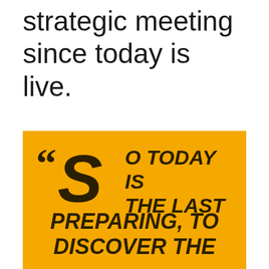...We did somewhat of a strategic meeting since today is live.
[Figure (infographic): Yellow quote box with large drop cap letter S and bold italic text: 'So today is the last preparing, to discover the']